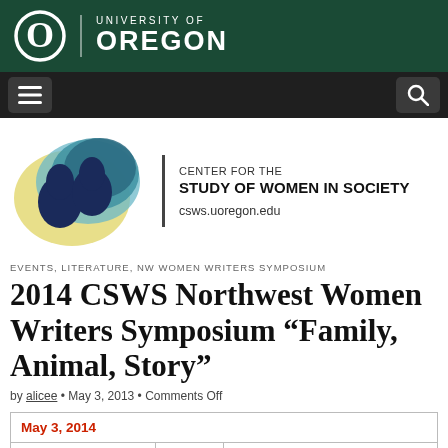[Figure (logo): University of Oregon green header bar with O logo and UNIVERSITY OF OREGON text]
[Figure (logo): Navigation bar with hamburger menu icon and search icon]
[Figure (logo): Center for the Study of Women in Society logo with two face silhouettes]
CENTER FOR THE STUDY OF WOMEN IN SOCIETY
csws.uoregon.edu
EVENTS, LITERATURE, NW WOMEN WRITERS SYMPOSIUM
2014 CSWS Northwest Women Writers Symposium “Family, Animal, Story”
by alicee • May 3, 2013 • Comments Off
| May 3, 2014 |  |  |
|  | 9:00 am | to | 4:00 pm |
| Eugene Public Library |  |